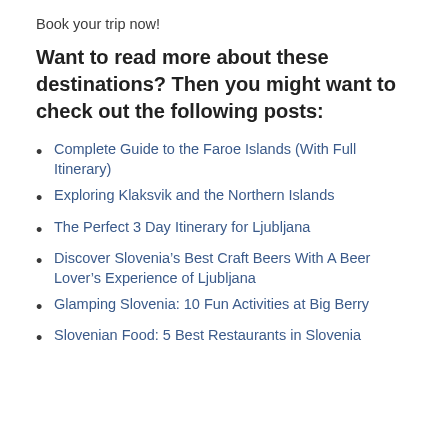Book your trip now!
Want to read more about these destinations? Then you might want to check out the following posts:
Complete Guide to the Faroe Islands (With Full Itinerary)
Exploring Klaksvik and the Northern Islands
The Perfect 3 Day Itinerary for Ljubljana
Discover Slovenia’s Best Craft Beers With A Beer Lover’s Experience of Ljubljana
Glamping Slovenia: 10 Fun Activities at Big Berry
Slovenian Food: 5 Best Restaurants in Slovenia